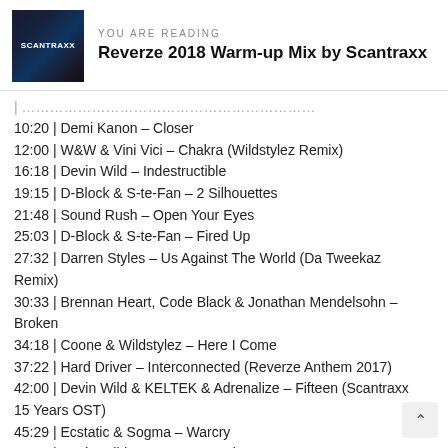YOU ARE READING
Reverze 2018 Warm-up Mix by Scantraxx
10:20 | Demi Kanon – Closer
12:00 | W&W & Vini Vici – Chakra (Wildstylez Remix)
16:18 | Devin Wild – Indestructible
19:15 | D-Block & S-te-Fan – 2 Silhouettes
21:48 | Sound Rush – Open Your Eyes
25:03 | D-Block & S-te-Fan – Fired Up
27:32 | Darren Styles – Us Against The World (Da Tweekaz Remix)
30:33 | Brennan Heart, Code Black & Jonathan Mendelsohn – Broken
34:18 | Coone & Wildstylez – Here I Come
37:22 | Hard Driver – Interconnected (Reverze Anthem 2017)
42:00 | Devin Wild & KELTEK & Adrenalize – Fifteen (Scantraxx 15 Years OST)
45:29 | Ecstatic & Sogma – Warcry
50:49 | Devin Wild – Let's Get Drunk